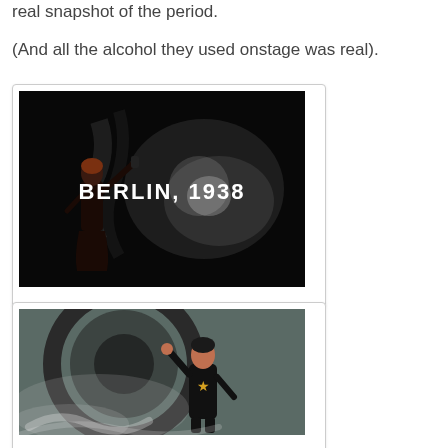real snapshot of the period.
(And all the alcohol they used onstage was real).
[Figure (photo): Dark theatrical stage photograph with text overlay reading 'BERLIN, 1938'. A figure in dark clothing stands at left holding something aloft, against a black background with smoky light effects.]
[Figure (photo): Close-up theatrical photograph showing a performer in black costume with a gold star, posed dramatically. Background shows a large circular graphic element with smoke/haze effects.]